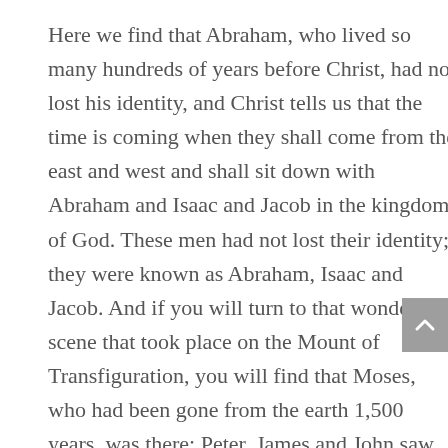Here we find that Abraham, who lived so many hundreds of years before Christ, had not lost his identity, and Christ tells us that the time is coming when they shall come from the east and west and shall sit down with Abraham and Isaac and Jacob in the kingdom of God. These men had not lost their identity; they were known as Abraham, Isaac and Jacob. And if you will turn to that wonderful scene that took place on the Mount of Transfiguration, you will find that Moses, who had been gone from the earth 1,500 years, was there; Peter, James and John saw him on the Mount of Transfiguration, they saw him as Moses; he had not lost his name. God says over here is Isaiah, “I will not blot your names out of the Lamb’s Book of